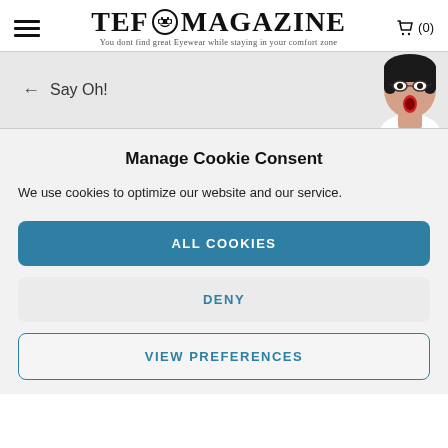TEF MAGAZINE — You dont find great Eyewear while staying in your comfort zone
[Figure (screenshot): Banner strip showing left arrow with text 'Say Oh!' and a woman wearing glasses on the right side]
Manage Cookie Consent
We use cookies to optimize our website and our service.
ALL COOKIES
DENY
VIEW PREFERENCES